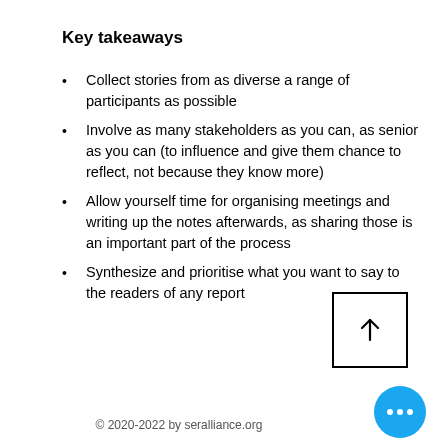Key takeaways
Collect stories from as diverse a range of participants as possible
Involve as many stakeholders as you can, as senior as you can (to influence and give them chance to reflect, not because they know more)
Allow yourself time for organising meetings and writing up the notes afterwards, as sharing those is an important part of the process
Synthesize and prioritise what you want to say to the readers of any report
[Figure (other): Navigation arrow button — a square box with an upward-pointing arrow inside]
© 2020-2022 by seralliance.org